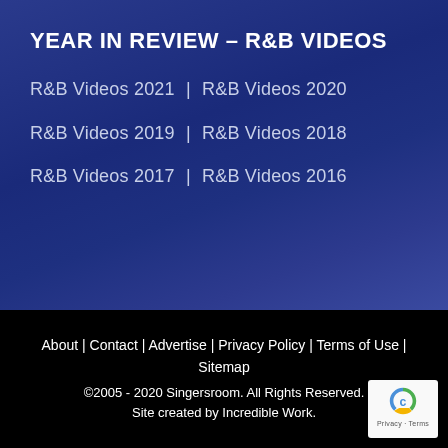YEAR IN REVIEW – R&B VIDEOS
R&B Videos 2021 | R&B Videos 2020
R&B Videos 2019 | R&B Videos 2018
R&B Videos 2017 | R&B Videos 2016
About | Contact | Advertise | Privacy Policy | Terms of Use | Sitemap
©2005 - 2020 Singersroom. All Rights Reserved.
Site created by Incredible Work.